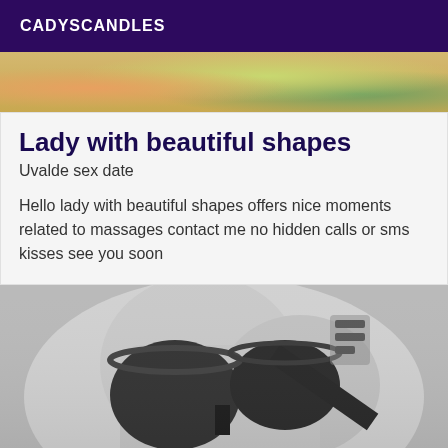CADYSCANDLES
[Figure (photo): Partial colorful photo at top, cropped]
Lady with beautiful shapes
Uvalde sex date
Hello lady with beautiful shapes offers nice moments related to massages contact me no hidden calls or sms kisses see you soon
[Figure (photo): Black and white photo of a woman in a black bra with tattoos visible]